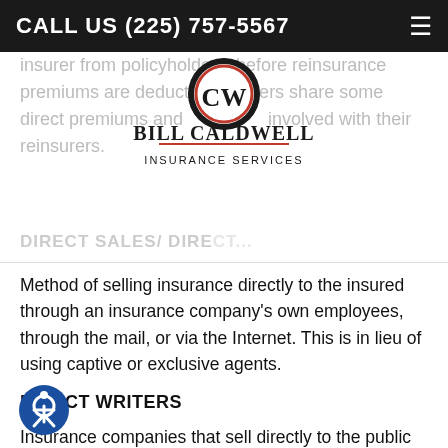CALL US (225) 757-5567
insurer from policyholders, before reinsurance premiums are deducted. Insurers share some direct premiums and are involved with their reinsurers.
[Figure (logo): Bill Caldwell Insurance Services logo — circular CW monogram with red ring, black outer ring, and company name in serif text below]
DIRECT SALES/ DIRECT...
Method of selling insurance directly to the insured through an insurance company's own employees, through the mail, or via the Internet. This is in lieu of using captive or exclusive agents.
DIRECT WRITERS
Insurance companies that sell directly to the public using exclusive agents or their own employees, through the mail, or via Internet. Large insurers, whether predominately direct writers or agency companies, are increasingly using many different channels to sell insurance